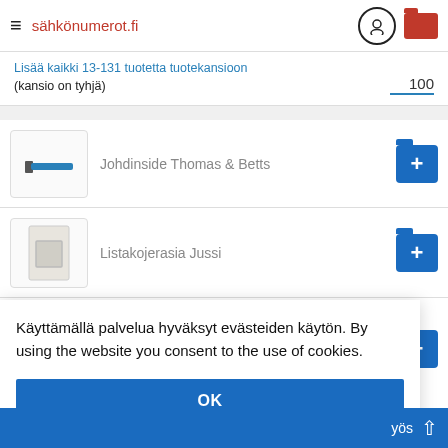sähkönumerot.fi
Lisää kaikki 13-131 tuotetta tuotekansioon
(kansio on tyhjä)  100
Johdinside Thomas & Betts
Listakojerasia Jussi
Käyttämällä palvelua hyväksyt evästeiden käytön. By using the website you consent to the use of cookies.
OK